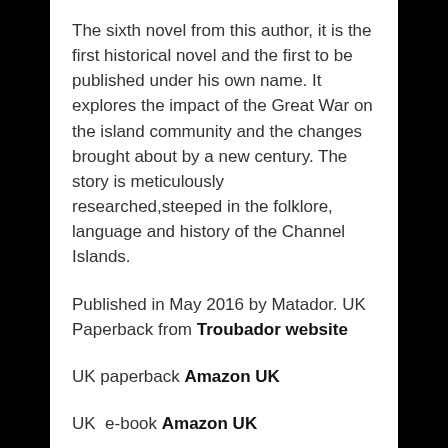The sixth novel from this author, it is the first historical novel and the first to be published under his own name. It explores the impact of the Great War on the island community and the changes brought about by a new century. The story is meticulously researched,steeped in the folklore, language and history of the Channel Islands.
Published in May 2016 by Matador. UK Paperback from Troubador website
UK paperback Amazon UK
UK  e-book Amazon UK
USA e-book Amazon.com
Trade enquiries to Orca Book Services Orca website